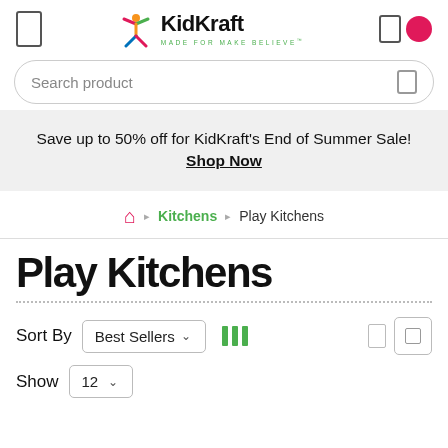[Figure (logo): KidKraft logo with colorful star figure and tagline 'MADE FOR MAKE BELIEVE']
Search product
Save up to 50% off for KidKraft's End of Summer Sale! Shop Now
Kitchens › Play Kitchens
Play Kitchens
Sort By  Best Sellers ˅
Show  12 ˅